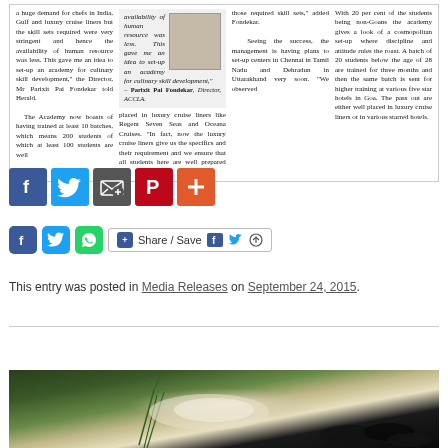[Figure (screenshot): Newspaper article clipping with three columns of text and a headshot photo of Parixit Pai Fondekar, with a pullquote about setting up an academy for culinary skill development.]
[Figure (screenshot): Social media sharing icons row 1: Facebook (blue), Twitter (light blue), Email (gray), Pinterest (red), Plus/More (orange)]
[Figure (screenshot): Social media sharing icons row 2: small Facebook, Twitter, WhatsApp icons and a Share/Save button with Facebook and Twitter icons]
This entry was posted in Media Releases on September 24, 2015.
[Figure (photo): Food photography image showing what appears to be a gourmet dish with green herbs (rosemary) and dark elements, partially visible at bottom of page]